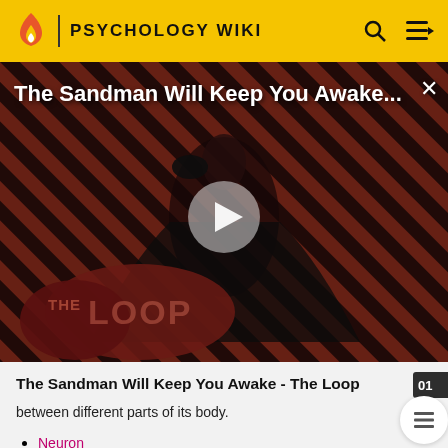PSYCHOLOGY WIKI
[Figure (screenshot): Video thumbnail for 'The Sandman Will Keep You Awake...' showing a dark figure with a crow against a diagonal striped red/black background, with a play button overlay and 'THE LOOP' branding at bottom left]
The Sandman Will Keep You Awake - The Loop
between different parts of its body.
Neuron
Interneuron